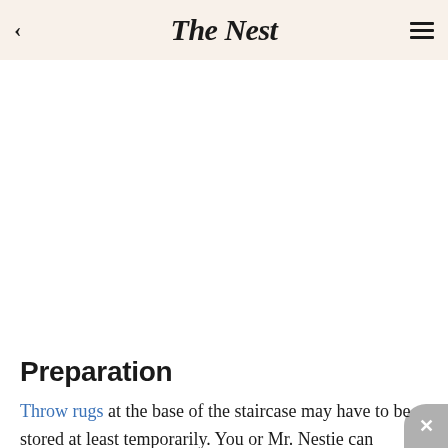The Nest
Preparation
Throw rugs at the base of the staircase may have to be stored at least temporarily. You or Mr. Nestie can